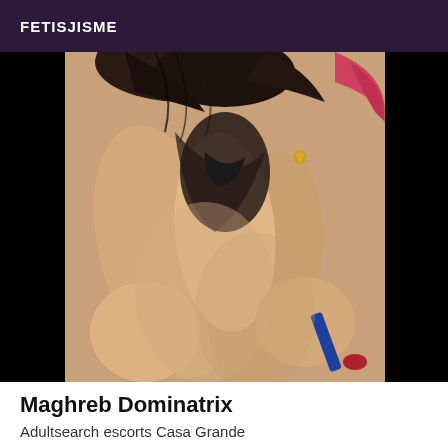FETISJISME
[Figure (photo): Close-up photo of a person's body, dark hair visible at top, skin tones dominate, dark background on sides]
Maghreb Dominatrix
Adultsearch escorts Casa Grande